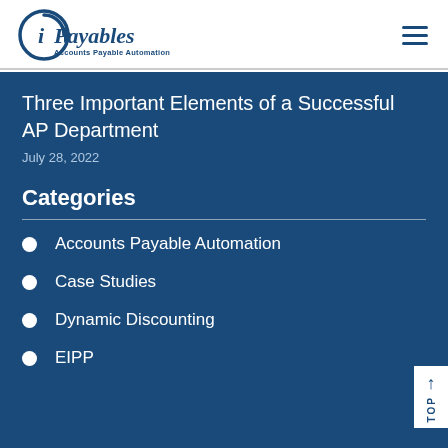[Figure (logo): iPayables logo with circular arrow motif and text 'Accounts Payable Automation']
Three Important Elements of a Successful AP Department
July 28, 2022
Categories
Accounts Payable Automation
Case Studies
Dynamic Discounting
EIPP